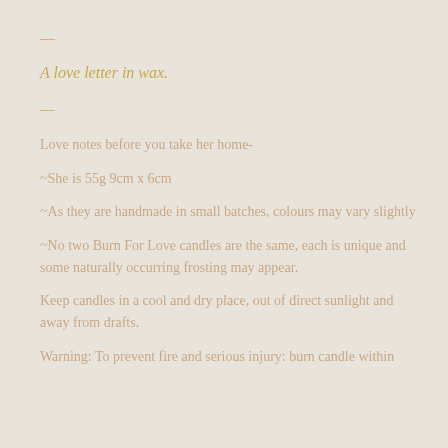—
A love letter in wax.
—
Love notes before you take her home-
~She is 55g 9cm x 6cm
~As they are handmade in small batches, colours may vary slightly
~No two Burn For Love candles are the same, each is unique and some naturally occurring frosting may appear.
Keep candles in a cool and dry place, out of direct sunlight and away from drafts.
Warning: To prevent fire and serious injury: burn candle within